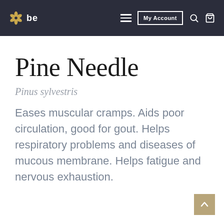be — My Account
Pine Needle
Pinus sylvestris
Eases muscular cramps. Aids poor circulation, good for gout. Helps respiratory problems and diseases of mucous membrane. Helps fatigue and nervous exhaustion.